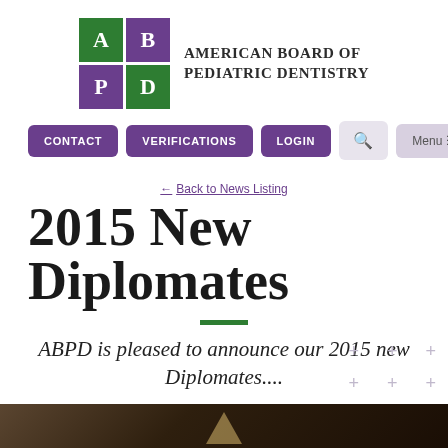[Figure (logo): ABPD logo: 2x2 grid with A, B (green/purple), P, D letters, next to text 'AMERICAN BOARD OF PEDIATRIC DENTISTRY']
CONTACT | VERIFICATIONS | LOGIN | Search | Menu
← Back to News Listing
2015 New Diplomates
ABPD is pleased to announce our 2015 new Diplomates....
[Figure (photo): Partial photo strip at bottom showing a dark brown/golden triangular shape, likely a ceremony or award image]